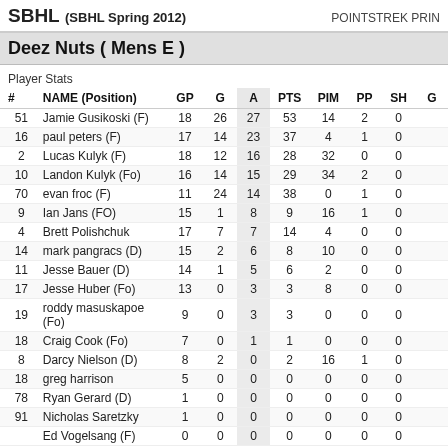SBHL (SBHL Spring 2012)   POINTSTREK PRIN
Deez Nuts ( Mens E )
Player Stats
| # | NAME (Position) | GP | G | A | PTS | PIM | PP | SH | G |
| --- | --- | --- | --- | --- | --- | --- | --- | --- | --- |
| 51 | Jamie Gusikoski (F) | 18 | 26 | 27 | 53 | 14 | 2 | 0 |  |
| 16 | paul peters (F) | 17 | 14 | 23 | 37 | 4 | 1 | 0 |  |
| 2 | Lucas Kulyk (F) | 18 | 12 | 16 | 28 | 32 | 0 | 0 |  |
| 10 | Landon Kulyk (Fo) | 16 | 14 | 15 | 29 | 34 | 2 | 0 |  |
| 70 | evan froc (F) | 11 | 24 | 14 | 38 | 0 | 1 | 0 |  |
| 9 | Ian Jans (FO) | 15 | 1 | 8 | 9 | 16 | 1 | 0 |  |
| 4 | Brett Polishchuk | 17 | 7 | 7 | 14 | 4 | 0 | 0 |  |
| 14 | mark pangracs (D) | 15 | 2 | 6 | 8 | 10 | 0 | 0 |  |
| 11 | Jesse Bauer (D) | 14 | 1 | 5 | 6 | 2 | 0 | 0 |  |
| 17 | Jesse Huber (Fo) | 13 | 0 | 3 | 3 | 8 | 0 | 0 |  |
| 19 | roddy masuskapoe (Fo) | 9 | 0 | 3 | 3 | 0 | 0 | 0 |  |
| 18 | Craig Cook (Fo) | 7 | 0 | 1 | 1 | 0 | 0 | 0 |  |
| 8 | Darcy Nielson (D) | 8 | 2 | 0 | 2 | 16 | 1 | 0 |  |
| 18 | greg harrison | 5 | 0 | 0 | 0 | 0 | 0 | 0 |  |
| 78 | Ryan Gerard (D) | 1 | 0 | 0 | 0 | 0 | 0 | 0 |  |
| 91 | Nicholas Saretzky | 1 | 0 | 0 | 0 | 0 | 0 | 0 |  |
|  | Ed Vogelsang (F) | 0 | 0 | 0 | 0 | 0 | 0 | 0 |  |